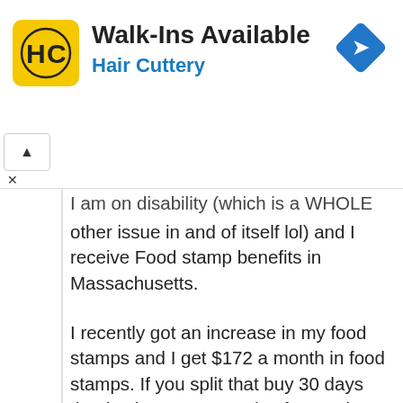[Figure (logo): Hair Cuttery advertisement banner with HC logo, text 'Walk-Ins Available' and 'Hair Cuttery', and a blue navigation arrow icon]
I am on disability (which is a WHOLE other issue in and of itself lol) and I receive Food stamp benefits in Massachusetts.
I recently got an increase in my food stamps and I get $172 a month in food stamps. If you split that buy 30 days that is about 5.33 per day for meals.
Split that by 3 meals a day that is 1.77 per meal. Realistically I don't know how people are expected to live off of that.